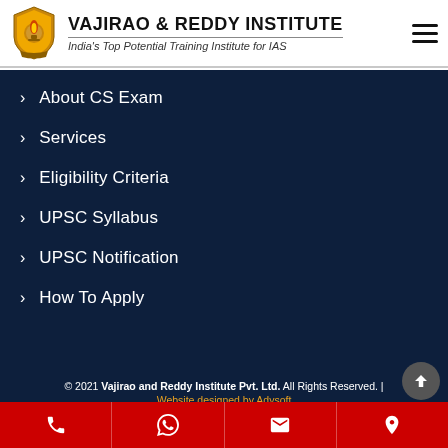[Figure (logo): Vajirao & Reddy Institute logo with shield emblem and text]
About CS Exam
Services
Eligibility Criteria
UPSC Syllabus
UPSC Notification
How To Apply
© 2021 Vajirao and Reddy Institute Pvt. Ltd. All Rights Reserved. | Website designed by Adysoft